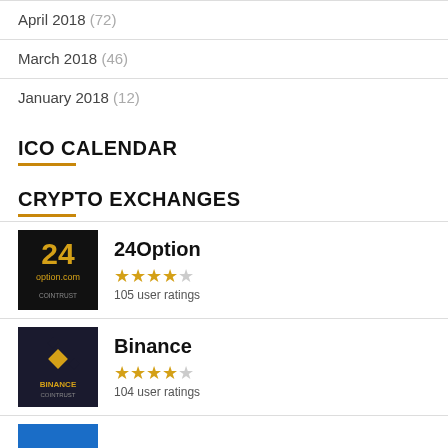April 2018 (72)
March 2018 (46)
January 2018 (12)
ICO CALENDAR
CRYPTO EXCHANGES
[Figure (logo): 24Option logo — black background with gold 24 and option.com text, Cointrust badge]
24Option
4/5 stars
105 user ratings
[Figure (logo): Binance logo — dark background with gold Binance diamond logo and BINANCE text, Cointrust badge]
Binance
4/5 stars
104 user ratings
[Figure (logo): Third exchange logo — blue background, partially visible]